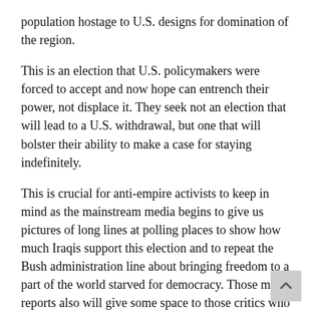population hostage to U.S. designs for domination of the region.
This is an election that U.S. policymakers were forced to accept and now hope can entrench their power, not displace it. They seek not an election that will lead to a U.S. withdrawal, but one that will bolster their ability to make a case for staying indefinitely.
This is crucial for anti-empire activists to keep in mind as the mainstream media begins to give us pictures of long lines at polling places to show how much Iraqis support this election and to repeat the Bush administration line about bringing freedom to a part of the world starved for democracy. Those media reports also will give some space to those critics who remain comfortably within the permissible ideological limits — that is, those who agree that the U.S. aim is freedom for Iraq and, therefore, are allowed to quibble with a few minor aspects of administration policy.